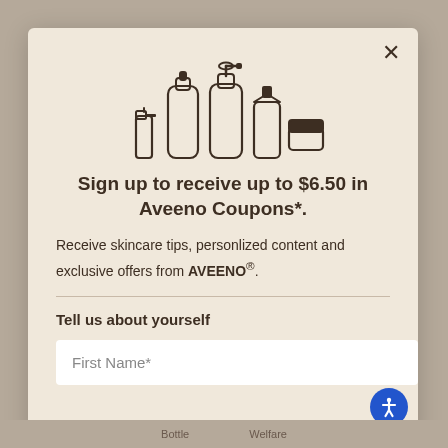[Figure (illustration): Icon illustration of skincare/beauty product bottles: spray bottle, tall bottle, pump bottle, tube, and jar, rendered in dark brown outline style]
Sign up to receive up to $6.50 in Aveeno Coupons*.
Receive skincare tips, personlized content and exclusive offers from AVEENO®.
Tell us about yourself
First Name*